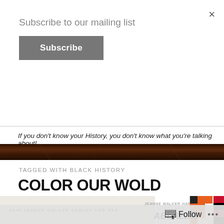×
Subscribe to our mailing list
Subscribe
If you don't know your History, you don't know what you're talking about!
TAGGED WITH BLACK HISTORY
COLOR OUR WOLD #ABLAZE IN COLOR – virtual book tour and giveaway
[Figure (other): Book tour promotional banner with text JOIN JEANNE WALKER HARVEY FOR HER and ABLAZE cover image]
Follow
•••